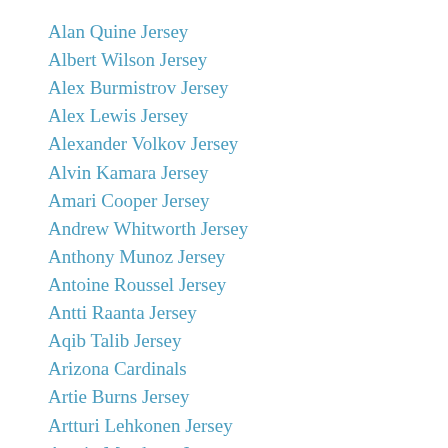Alan Quine Jersey
Albert Wilson Jersey
Alex Burmistrov Jersey
Alex Lewis Jersey
Alexander Volkov Jersey
Alvin Kamara Jersey
Amari Cooper Jersey
Andrew Whitworth Jersey
Anthony Munoz Jersey
Antoine Roussel Jersey
Antti Raanta Jersey
Aqib Talib Jersey
Arizona Cardinals
Artie Burns Jersey
Artturi Lehkonen Jersey
Austin Meadows Jersey
Avery Bradley Jersey
Ben Bishop Jersey
Bobby Hart Jersey